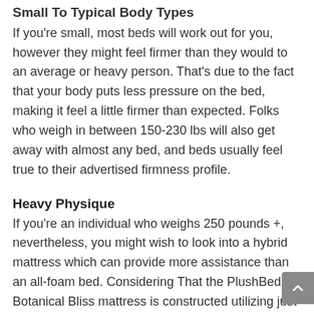Small To Typical Body Types
If you're small, most beds will work out for you, however they might feel firmer than they would to an average or heavy person. That's due to the fact that your body puts less pressure on the bed, making it feel a little firmer than expected. Folks who weigh in between 150-230 lbs will also get away with almost any bed, and beds usually feel true to their advertised firmness profile.
Heavy Physique
If you're an individual who weighs 250 pounds +, nevertheless, you might wish to look into a hybrid mattress which can provide more assistance than an all-foam bed. Considering That the PlushBeds Botanical Bliss mattress is constructed utilizing just latex foam, we do not suggest this bed for heavy folks. If you identify with this body type and you're dead s